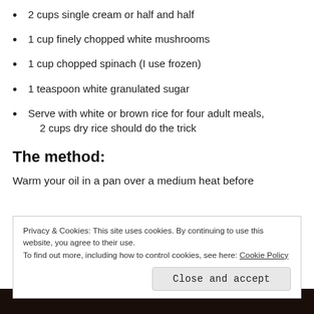2 cups single cream or half and half
1 cup finely chopped white mushrooms
1 cup chopped spinach (I use frozen)
1 teaspoon white granulated sugar
Serve with white or brown rice for four adult meals, 2 cups dry rice should do the trick
The method:
Warm your oil in a pan over a medium heat before
Privacy & Cookies: This site uses cookies. By continuing to use this website, you agree to their use.
To find out more, including how to control cookies, see here: Cookie Policy
Close and accept